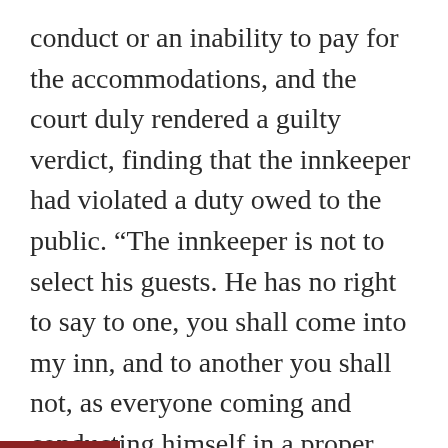conduct or an inability to pay for the accommodations, and the court duly rendered a guilty verdict, finding that the innkeeper had violated a duty owed to the public. “The innkeeper is not to select his guests. He has no right to say to one, you shall come into my inn, and to another you shall not, as everyone coming and conducting himself in a proper manner has a right to be received … .” Rex v. Ivens, 7 Car. & P. 213, 173